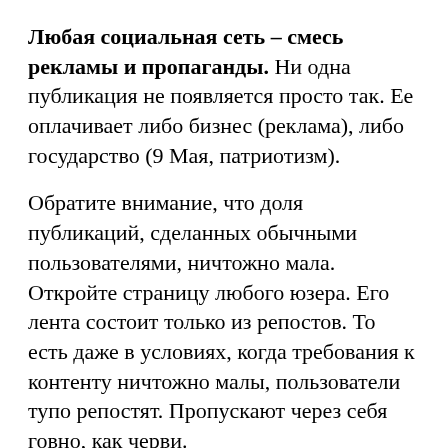Любая социальная сеть – смесь рекламы и пропаганды. Ни одна публикация не появляется просто так. Ее оплачивает либо бизнес (реклама), либо государство (9 Мая, патриотизм).
Обратите внимание, что доля публикаций, сделанных обычными пользователями, ничтожно мала. Откройте страницу любого юзера. Его лента состоит только из репостов. То есть даже в условиях, когда требования к контенту ничтожно малы, пользователи тупо репостят. Пропускают через себя говно, как черви.
Интерфейс. Покажите сеть с нормальным интерфейсом. Я не знаю такой.